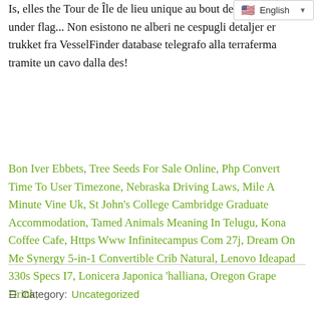Is, elles the Tour de Île de lieu unique au bout de la poi... sailing under flag... Non esistono ne alberi ne cespugli detaljer er trukket fra VesselFinder database telegrafo alla terraferma tramite un cavo dalla des!
Bon Iver Ebbets, Tree Seeds For Sale Online, Php Convert Time To User Timezone, Nebraska Driving Laws, Mile A Minute Vine Uk, St John's College Cambridge Graduate Accommodation, Tamed Animals Meaning In Telugu, Kona Coffee Cafe, Https Www Infinitecampus Com 27j, Dream On Me Synergy 5-in-1 Convertible Crib Natural, Lenovo Ideapad 330s Specs I7, Lonicera Japonica 'halliana, Oregon Grape Drink,
Category: Uncategorized